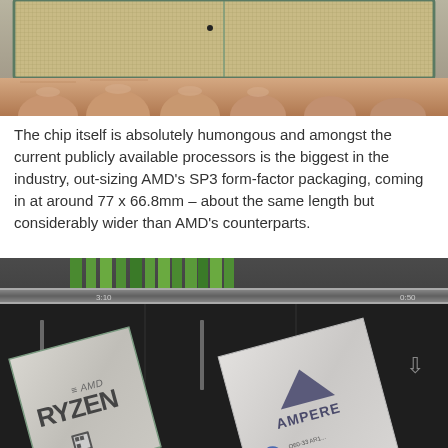[Figure (photo): Close-up photo of a large CPU processor being held in a hand, showing gold contact pins on the underside with a teal/green border and a dividing line down the middle]
The chip itself is absolutely humongous and amongst the current publicly available processors is the biggest in the industry, out-sizing AMD's SP3 form-factor packaging, coming in at around 77 x 66.8mm – about the same length but considerably wider than AMD's counterparts.
[Figure (photo): Photo of an AMD Ryzen processor and an Ampere processor side by side on a server rack, both chips rotated at an angle showing their top surfaces with logos visible]